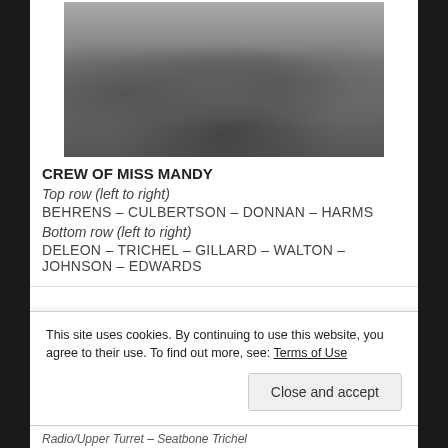[Figure (photo): Black and white group photograph of military aircrew members posing in two rows in front of an aircraft]
CREW OF MISS MANDY
Top row (left to right)
BEHRENS – CULBERTSON – DONNAN – HARMS
Bottom row (left to right)
DELEON – TRICHEL – GILLARD – WALTON – JOHNSON – EDWARDS
This site uses cookies. By continuing to use this website, you agree to their use. To find out more, see: Terms of Use
Radio/Upper Turret – Seatbone Trichel